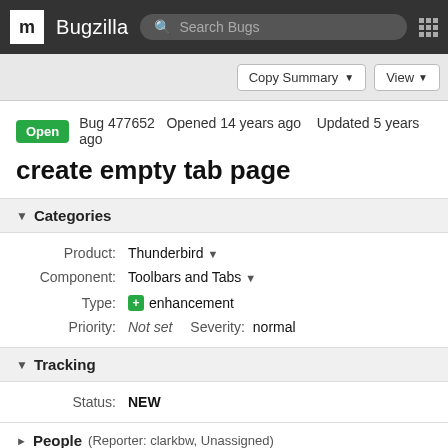m Bugzilla  Search Bugs
Copy Summary  View
Open  Bug 477652  Opened 14 years ago  Updated 5 years ago
create empty tab page
▼ Categories
Product: Thunderbird ▾
Component: Toolbars and Tabs ▾
Type: + enhancement
Priority: Not set   Severity: normal
▼ Tracking
Status: NEW
▶ People (Reporter: clarkbw, Unassigned)
▶ References (Blocks 1 open bug)